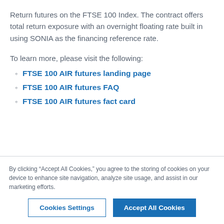Return futures on the FTSE 100 Index. The contract offers total return exposure with an overnight floating rate built in using SONIA as the financing reference rate.
To learn more, please visit the following:
FTSE 100 AIR futures landing page
FTSE 100 AIR futures FAQ
FTSE 100 AIR futures fact card
By clicking “Accept All Cookies,” you agree to the storing of cookies on your device to enhance site navigation, analyze site usage, and assist in our marketing efforts.